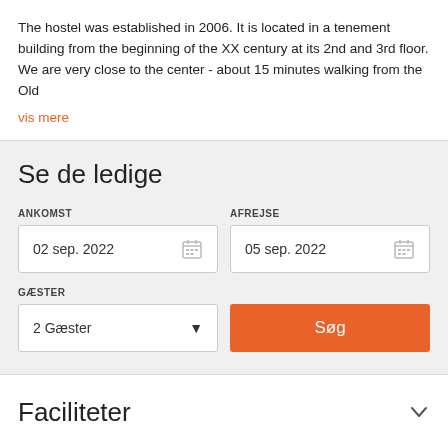The hostel was established in 2006. It is located in a tenement building from the beginning of the XX century at its 2nd and 3rd floor. We are very close to the center - about 15 minutes walking from the Old
vis mere
Se de ledige
ANKOMST
02 sep. 2022
AFREJSE
05 sep. 2022
GÆSTER
2 Gæster
Søg
Faciliteter